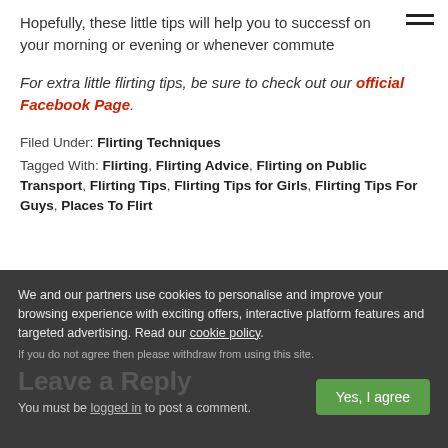Hopefully, these little tips will help you to successfully flirt on your morning or evening or whenever commute
For extra little flirting tips, be sure to check out our official Facebook Page.
Filed Under: Flirting Techniques
Tagged With: Flirting, Flirting Advice, Flirting on Public Transport, Flirting Tips, Flirting Tips for Girls, Flirting Tips For Guys, Places To Flirt
Leave a Reply
We and our partners use cookies to personalise and improve your browsing experience with exciting offers, interactive platform features and targeted advertising. Read our cookie policy.
If you do not agree then please withdraw from using this site.
You must be logged in to post a comment.